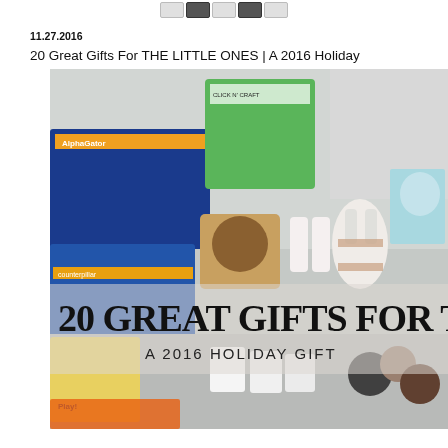navigation buttons
11.27.2016
20 Great Gifts For THE LITTLE ONES | A 2016 Holiday
[Figure (photo): Flatlay photo of children's gifts including AlphaGator box, craft kit, colorful beads, wooden toy, small bottles, stuffed bunny, books, and other toys arranged on a white surface. Overlaid text reads '20 GREAT GIFTS FOR THE' and 'A 2016 HOLIDAY GIFT']